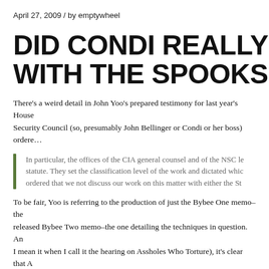April 27, 2009 / by emptywheel
DID CONDI REALLY NOT KNOW WITH THE SPOOKS ON TORTU…
There's a weird detail in John Yoo's prepared testimony for last year's House Security Council (so, presumably John Bellinger or Condi or her boss) ordere…
In particular, the offices of the CIA general counsel and of the NSC le… statute. They set the classification level of the work and dictated whic… ordered that we not discuss our work on this matter with either the St…
To be fair, Yoo is referring to the production of just the Bybee One memo–the released Bybee Two memo–the one detailing the techniques in question. An I mean it when I call it the hearing on Assholes Who Torture), it's clear that A (in Addington's case, for example, he did so to avoid admitting he had discus…
So it's possible that Yoo was only ordered to keep this memo secret from DO for the torture kids over at Defense and CIA.